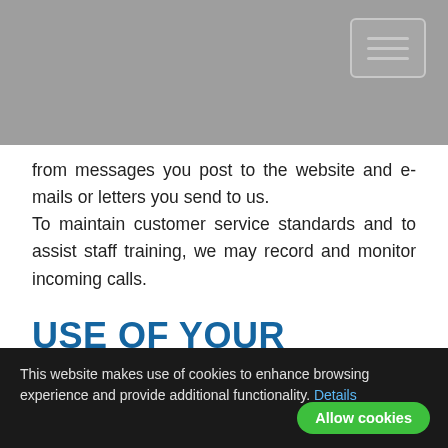[Grey navigation banner with hamburger menu icon]
from messages you post to the website and e-mails or letters you send to us. To maintain customer service standards and to assist staff training, we may record and monitor incoming calls.
USE OF YOUR INFORMATION
Your information will enable us to provide you with access to all parts of our website and to supply the [enable us to bill you and contact y…]
This website makes use of cookies to enhance browsing experience and provide additional functionality. Details